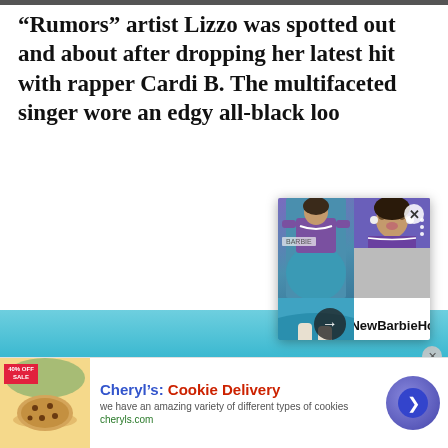“Rumors” artist Lizzo was spotted out and about after dropping her latest hit with rapper Cardi B. The multifaceted singer wore an edgy all-black look
CONTINUE
Posted On : August
[Figure (screenshot): Overlay card showing Mattel Barbie doll images with headline 'IntroducesNewBarbieHonori...' and close/next buttons]
[Figure (screenshot): Advertisement banner: Cheryl's Cookie Delivery with cookie image, description and CTA button]